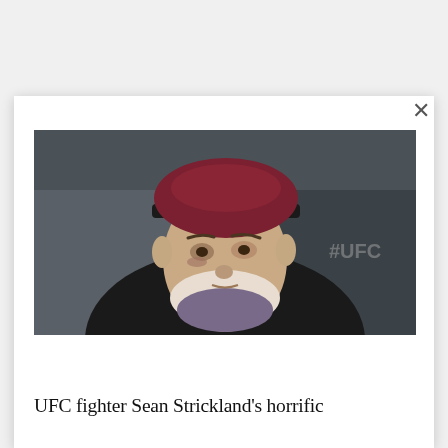[Figure (photo): Photo of UFC fighter Sean Strickland wearing a dark red/maroon snapback cap and black hoodie, looking slightly to the side with a bruised eye, standing in front of a dark background with a '#UFC' sign visible]
UFC fighter Sean Strickland's horrific